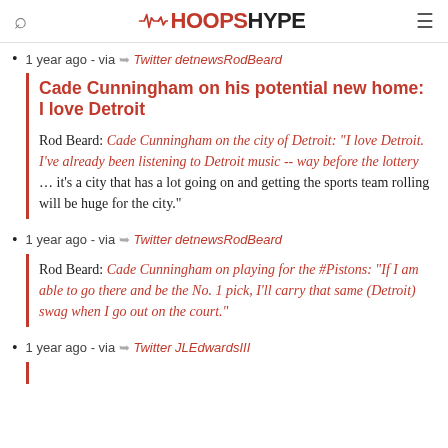HOOPSHYPE
1 year ago - via Twitter detnewsRodBeard
Cade Cunningham on his potential new home: I love Detroit
Rod Beard: Cade Cunningham on the city of Detroit: "I love Detroit. I've already been listening to Detroit music -- way before the lottery ... it's a city that has a lot going on and getting the sports team rolling will be huge for the city."
1 year ago - via Twitter detnewsRodBeard
Rod Beard: Cade Cunningham on playing for the #Pistons: "If I am able to go there and be the No. 1 pick, I'll carry that same (Detroit) swag when I go out on the court."
1 year ago - via Twitter JLEdwardsIII